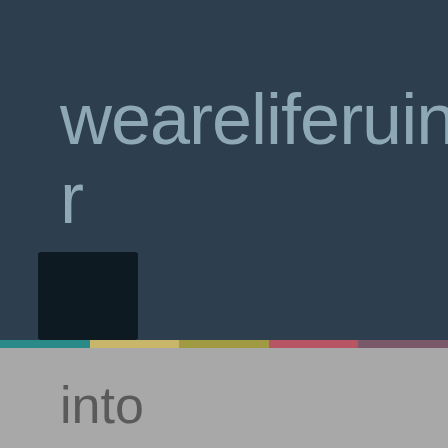weareliferuiner
[Figure (other): Dark square decorative element on dark teal background]
into